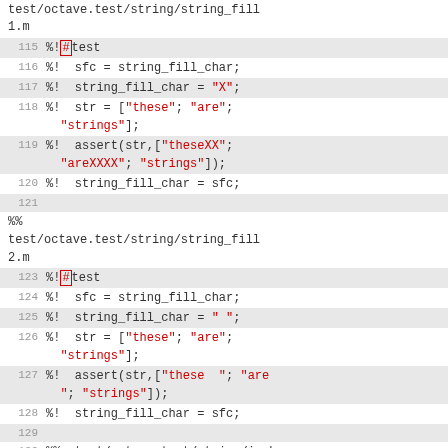test/octave.test/string/string_fill1.m
115: %! #test
116: %! sfc = string_fill_char;
117: %! string_fill_char = "X";
118: %! str = ["these"; "are"; "strings"];
119: %! assert(str,["theseXX"; "areXXXX"; "strings"]);
120: %! string_fill_char = sfc;
121: (empty)
test/octave.test/string/string_fill2.m
123: %! #test
124: %! sfc = string_fill_char;
125: %! string_fill_char = " ";
126: %! str = ["these"; "are"; "strings"];
127: %! assert(str,["these  "; "are"; "strings"]);
128: %! string_fill_char = sfc;
129: (empty)
130: %% test/octave.test/string/ischar-1.m
131: %!assert(!(ischar (1)));
132: (empty)
133: %% test/octave.test/string/ischar-2.m